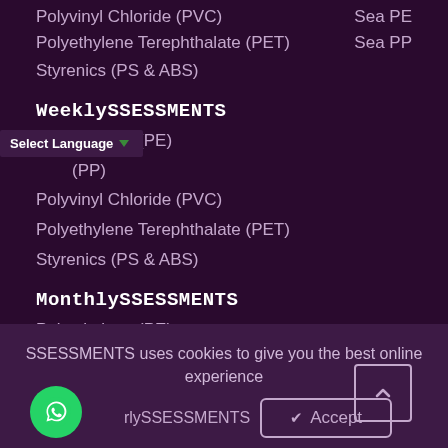Polyvinyl Chloride (PVC)
Sea PE / Sea PP (two column row)
Polyethylene Terephthalate (PET)
Sea PP
Styrenics (PS & ABS)
WeeklySSESSMENTS
Polyethylene (PE)
(PP)
Polyvinyl Chloride (PVC)
Polyethylene Terephthalate (PET)
Styrenics (PS & ABS)
MonthlySSESSMENTS
Polyethylene (PE)
Polypropylene (PP)
Polyvinyl Chloride (PVC)
Select Language
SSESSMENTS uses cookies to give you the best online experience
✔ Accept
rlySSESSMENTS